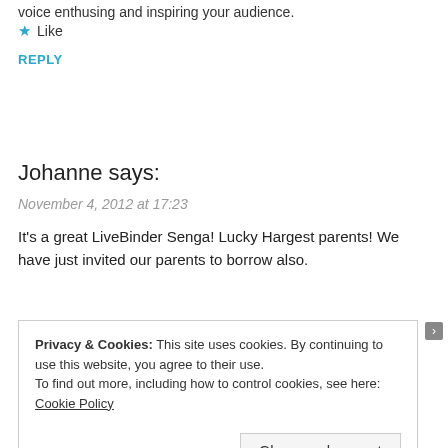voice enthusing and inspiring your audience.
★ Like
REPLY
Johanne says:
November 4, 2012 at 17:23
It's a great LiveBinder Senga! Lucky Hargest parents! We have just invited our parents to borrow also.
Privacy & Cookies: This site uses cookies. By continuing to use this website, you agree to their use. To find out more, including how to control cookies, see here: Cookie Policy
Close and accept